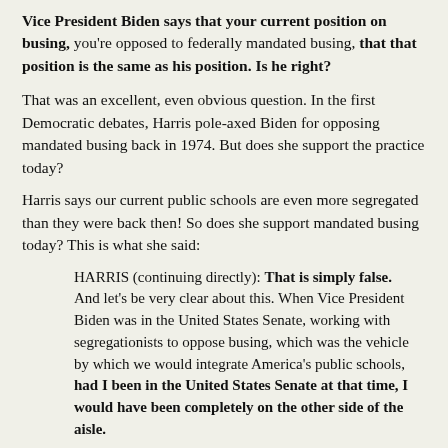Vice President Biden says that your current position on busing, you're opposed to federally mandated busing, that that position is the same as his position. Is he right?
That was an excellent, even obvious question. In the first Democratic debates, Harris pole-axed Biden for opposing mandated busing back in 1974. But does she support the practice today?
Harris says our current public schools are even more segregated than they were back then! So does she support mandated busing today? This is what she said:
HARRIS (continuing directly): That is simply false. And let's be very clear about this. When Vice President Biden was in the United States Senate, working with segregationists to oppose busing, which was the vehicle by which we would integrate America's public schools, had I been in the United States Senate at that time, I would have been completely on the other side of the aisle.